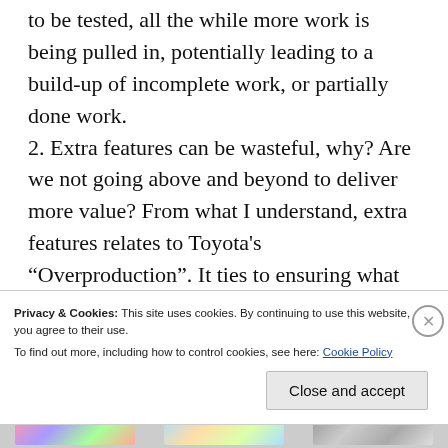to be tested, all the while more work is being pulled in, potentially leading to a build-up of incomplete work, or partially done work. 2. Extra features can be wasteful, why? Are we not going above and beyond to deliver more value? From what I understand, extra features relates to Toyota's “Overproduction”. It ties to ensuring what you build is what is needed. Extra features represent that last minute add-in to scope, the person with power or outspoken
Privacy & Cookies: This site uses cookies. By continuing to use this website, you agree to their use.
To find out more, including how to control cookies, see here: Cookie Policy
Close and accept